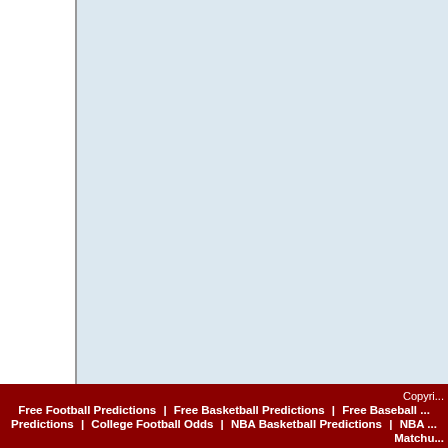The Titans, led by the big three of Ryan Tannehill, Derrick Henry, got even more dangerous by adding wideout Julio Jones. The latter wa...
We can expect plenty of fireworks between two playoff contenders. B... up front (hello, Chandler Jones, J... secondary (do-it-all safety Budda B... offense.
The Titans recorded just 19 sacks passing defense (277.4 passing ya... even on paper this year.
Arizona's pass rush and opportuni... second half to help Murray and the...
Prediction: Cardinals 27, Tit...
Activities offered by advertising links to other site... they should make their own inquiry into the le... information contained at this website is for news... federal, state, provincial or local laws is strictly pr... viewing this website you agree to not hold Valley... result of participating in games and/or activities o... ALLOWED HERE.
Copyright | Free Football Predictions | Free Basketball Predictions | Free Baseball Predictions | College Football Odds | NBA Basketball Predictions | NBA Matchcu...